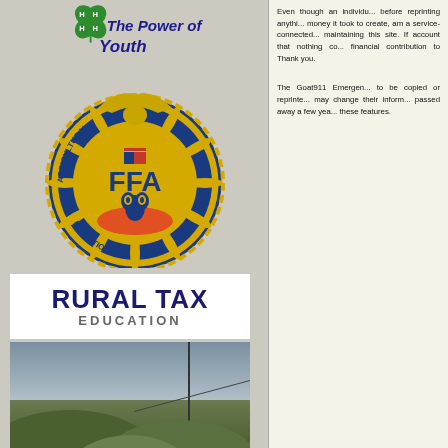[Figure (logo): 4-H 'The Power of Youth' logo with green four-leaf clover and blue italic text]
[Figure (logo): FFA Agricultural Education emblem — eagle atop circular gold badge with owl, plow, rising sun, and text 'Agricultural FFA Education']
[Figure (logo): Rural Tax Education logo — navy bold 'RURAL TAX' and gray 'EDUCATION' on white background]
[Figure (photo): Landscape photo showing rural scenery with utility poles, wires, and green hills under overcast sky]
Even though an individu... before reprinting anythi... money it took to create, ... am a service-connected... maintaining this site. If ... account that nothing co... financial contribution to ... Thank you.
The Goat911 Emergen... to be copied or reprinte... may change their inform... passed away a few yea... these features.